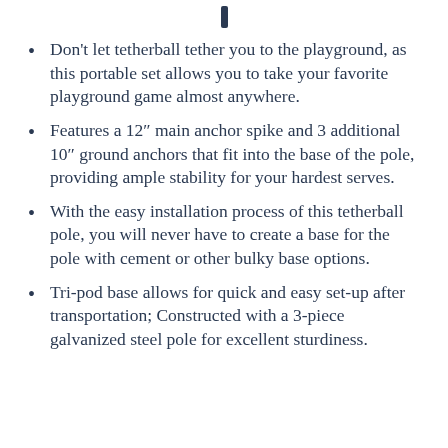Don't let tetherball tether you to the playground, as this portable set allows you to take your favorite playground game almost anywhere.
Features a 12" main anchor spike and 3 additional 10" ground anchors that fit into the base of the pole, providing ample stability for your hardest serves.
With the easy installation process of this tetherball pole, you will never have to create a base for the pole with cement or other bulky base options.
Tri-pod base allows for quick and easy set-up after transportation; Constructed with a 3-piece galvanized steel pole for excellent sturdiness.